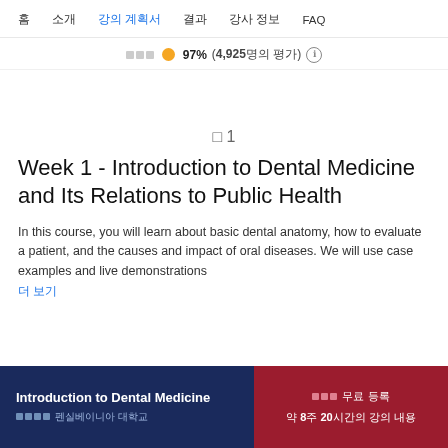홈  소개  강의 계획서  결과  강사 정보  FAQ
수강생 만족도 ★ 97% (4,925명의 평가) ℹ
주 1
Week 1 - Introduction to Dental Medicine and Its Relations to Public Health
In this course, you will learn about basic dental anatomy, how to evaluate a patient, and the causes and impact of oral diseases. We will use case examples and live demonstrations
더 보기
Introduction to Dental Medicine | 펜실베이니아 대학교 | 무료 등록 | 약 8주 20시간의 강의 내용